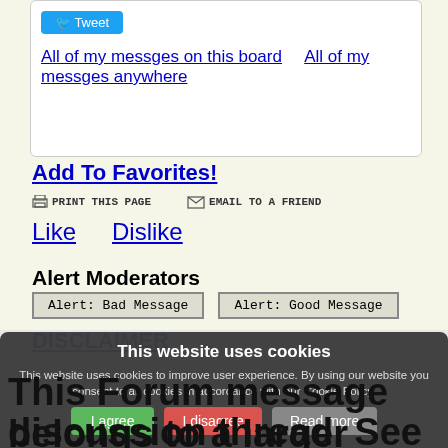Tweet
All of my messges on this board    All of my messges anywhere
Add To Favorites!
PRINT THIS PAGE    EMAIL TO A FRIEND
Like    Dislike
Alert Moderators
Alert: Bad Message    Alert: Good Message
DISCLAIMER
This website uses cookies
This website uses cookies to improve user experience. By using our website you consent to all cookies in accordance with our Cookie Policy.
I agree    I disagree    Read more
This Forum message belongs to a larger discussion thread. See the